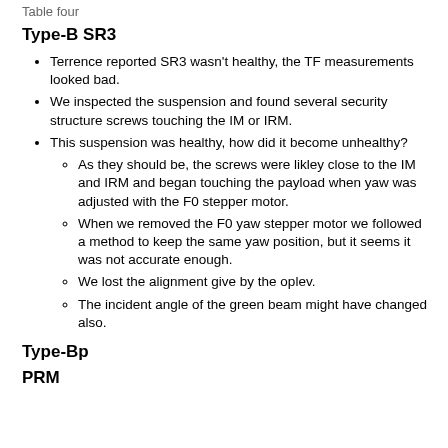Type-B SR3
Terrence reported SR3 wasn't healthy, the TF measurements looked bad.
We inspected the suspension and found several security structure screws touching the IM or IRM.
This suspension was healthy, how did it become unhealthy?
As they should be, the screws were likley close to the IM and IRM and began touching the payload when yaw was adjusted with the F0 stepper motor.
When we removed the F0 yaw stepper motor we followed a method to keep the same yaw position, but it seems it was not accurate enough.
We lost the alignment give by the oplev.
The incident angle of the green beam might have changed also.
Type-Bp
PRM